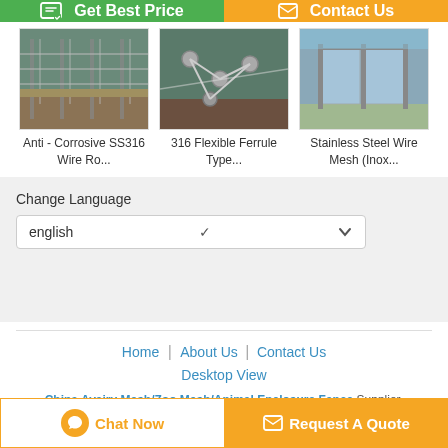[Figure (screenshot): Get Best Price button (green) and Contact Us button (orange) at top]
[Figure (photo): Anti-Corrosive SS316 Wire Ro... product image - wire rope fence along walkway]
Anti - Corrosive SS316 Wire Ro...
[Figure (photo): 316 Flexible Ferrule Type... product image - wire rope fencing components]
316 Flexible Ferrule Type...
[Figure (photo): Stainless Steel Wire Mesh (Inox... product image - glass and wire balustrade]
Stainless Steel Wire Mesh (Inox...
Change Language
english
Home | About Us | Contact Us
Desktop View
China Avairy Mesh/Zoo Mesh/Animal Enclosure Fence Supplier. Copyright © 2017 - 2022 bmmetalmesh.com. All rights reserved. Developed by ECER
[Figure (screenshot): Chat Now button and Request A Quote button at bottom]